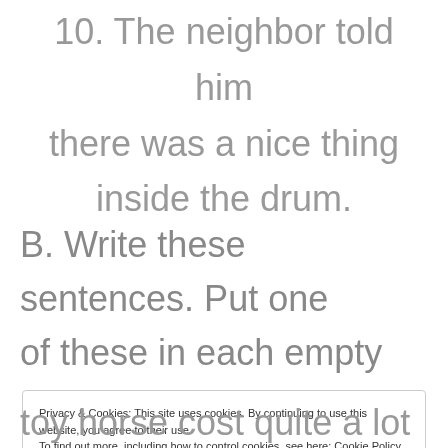10. The neighbor told him there was a nice thing inside the drum.
B. Write these sentences. Put one of these in each empty place: a lot, a lot of, many, much
Privacy & Cookies: This site uses cookies. By continuing to use this website, you agree to their use. To find out more, including how to control cookies, see here: Cookie Policy
toy horse cost quite a lot